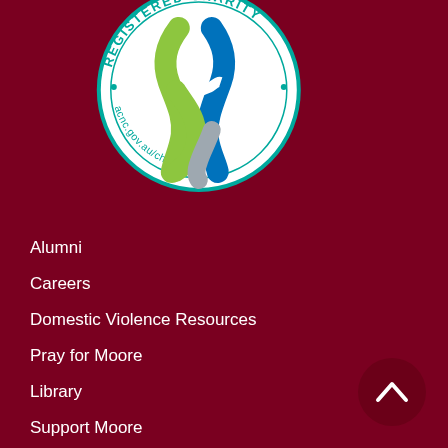[Figure (logo): ACNC Registered Charity logo — circular badge with teal border and text 'REGISTERED CHARITY' at top, 'acnc.gov.au/charityregister' at bottom, with intertwined blue and green ribbon in center, on white background]
Alumni
Careers
Domestic Violence Resources
Pray for Moore
Library
Support Moore
[Figure (illustration): Dark crimson circular button with upward-pointing chevron/arrow icon]